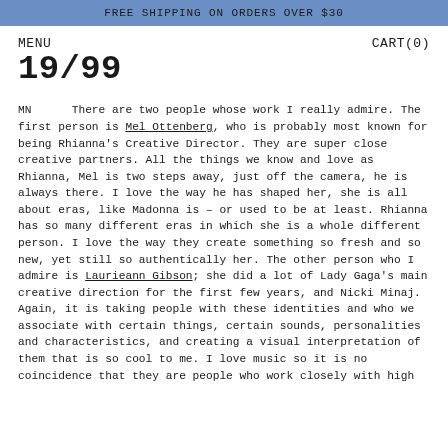FREE SHIPPING ON ORDERS OVER $30
MENU
19/99
CART(0)
MN      There are two people whose work I really admire. The first person is Mel Ottenberg, who is probably most known for being Rhianna's Creative Director. They are super close creative partners. All the things we know and love as Rhianna, Mel is two steps away, just off the camera, he is always there. I love the way he has shaped her, she is all about eras, like Madonna is – or used to be at least. Rhianna has so many different eras in which she is a whole different person. I love the way they create something so fresh and so new, yet still so authentically her. The other person who I admire is Laurieann Gibson; she did a lot of Lady Gaga's main creative direction for the first few years, and Nicki Minaj. Again, it is taking people with these identities and who we associate with certain things, certain sounds, personalities and characteristics, and creating a visual interpretation of them that is so cool to me. I love music so it is no coincidence that they are people who work closely with high